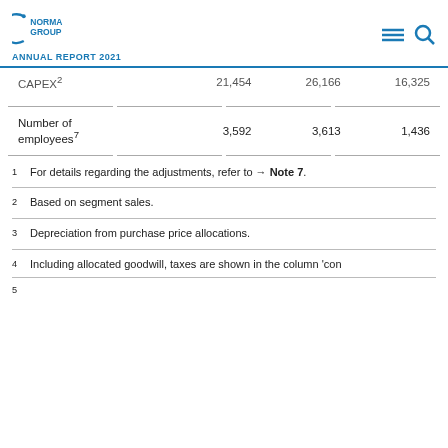NORMA GROUP ANNUAL REPORT 2021
|  |  |  |  |
| --- | --- | --- | --- |
| CAPEX² | 21,454 | 26,166 | 16,325 |
| Number of employees⁷ | 3,592 | 3,613 | 1,436 |
1 For details regarding the adjustments, refer to → Note 7.
2 Based on segment sales.
3 Depreciation from purchase price allocations.
4 Including allocated goodwill, taxes are shown in the column 'con
5